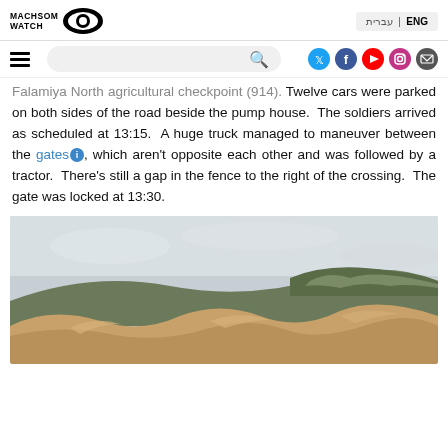MACHSOM WATCH | ENG | עברית
Falamiya North agricultural checkpoint (914). Twelve cars were parked on both sides of the road beside the pump house. The soldiers arrived as scheduled at 13:15. A huge truck managed to maneuver between the gates, which aren't opposite each other and was followed by a tractor. There's still a gap in the fence to the right of the crossing. The gate was locked at 13:30.
[Figure (photo): Outdoor landscape photo showing mounds of sandy/brown earth in the foreground with rocky hills and overcast sky in the background.]